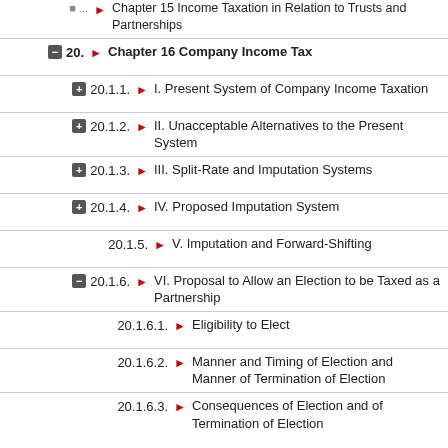Chapter 15 Income Taxation in Relation to Trusts and Partnerships (truncated top)
20. Chapter 16 Company Income Tax
20.1.1. I. Present System of Company Income Taxation
20.1.2. II. Unacceptable Alternatives to the Present System
20.1.3. III. Split-Rate and Imputation Systems
20.1.4. IV. Proposed Imputation System
20.1.5. V. Imputation and Forward-Shifting
20.1.6. VI. Proposal to Allow an Election to be Taxed as a Partnership
20.1.6.1. Eligibility to Elect
20.1.6.2. Manner and Timing of Election and Manner of Termination of Election
20.1.6.3. Consequences of Election and of Termination of Election